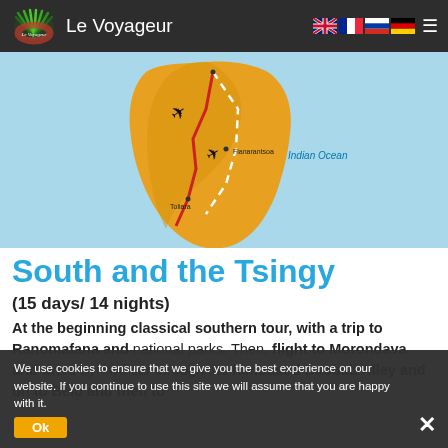Le Voyageur
[Figure (map): Map of Madagascar showing tour route with red line through the south, white dashed flight path, airplane icons, and city labels. Indian Ocean labeled in blue to the right.]
South and the Tsingy
(15 days/ 14 nights)
At the beginning classical southern tour, with a trip to Ranomafana and national parks. Then, flight to Morondava and drive by 4wd car through the famoused Baobab Alley and on to Belo and then to
We use cookies to ensure that we give you the best experience on our website. If you continue to use this site we will assume that you are happy with it.